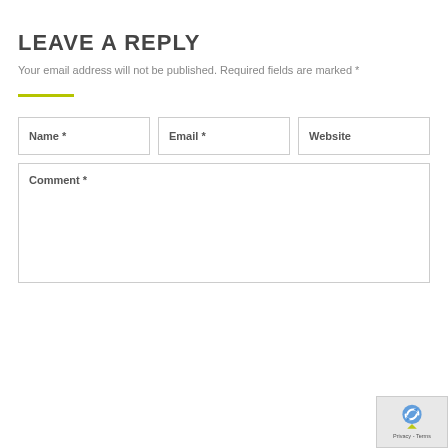LEAVE A REPLY
Your email address will not be published. Required fields are marked *
[Figure (other): Horizontal yellow-green divider line]
Name *
Email *
Website
Comment *
[Figure (other): reCAPTCHA badge showing logo and Privacy - Terms text]